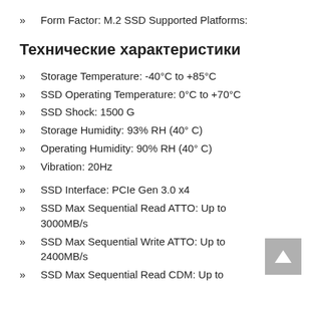Form Factor: M.2 SSD Supported Platforms:
Технические характеристики
Storage Temperature: -40°C to +85°C
SSD Operating Temperature: 0°C to +70°C
SSD Shock: 1500 G
Storage Humidity: 93% RH (40° C)
Operating Humidity: 90% RH (40° C)
Vibration: 20Hz
SSD Interface: PCIe Gen 3.0 x4
SSD Max Sequential Read ATTO: Up to 3000MB/s
SSD Max Sequential Write ATTO: Up to 2400MB/s
SSD Max Sequential Read CDM: Up to